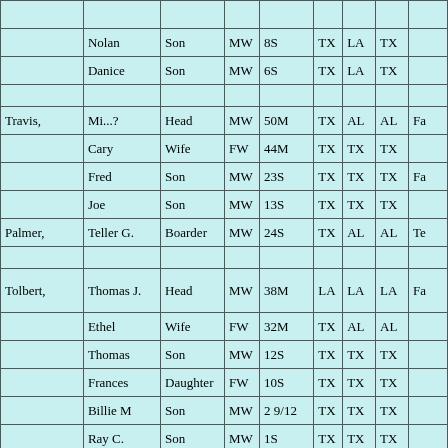| Last Name | First Name | Relation | Sex/Race | Age/Marital | Birthplace | Father BP | Mother BP | Occupation |
| --- | --- | --- | --- | --- | --- | --- | --- | --- |
|  |  |  | MW | ... | ... | ... | ... | ... |
|  | Nolan | Son | MW | 8S | TX | LA | TX |  |
|  | Danice | Son | MW | 6S | TX | LA | TX |  |
|  |  |  |  |  |  |  |  |  |
| Travis, | Mi...? | Head | MW | 50M | TX | AL | AL | Fa... |
|  | Cary | Wife | FW | 44M | TX | TX | TX |  |
|  | Fred | Son | MW | 23S | TX | TX | TX | Fa... |
|  | Joe | Son | MW | 13S | TX | TX | TX |  |
| Palmer, | Teller G. | Boarder | MW | 24S | TX | AL | AL | Te... |
|  |  |  |  |  |  |  |  |  |
| Tolbert, | Thomas J. | Head | MW | 38M | LA | LA | LA | Fa... |
|  | Ethel | Wife | FW | 32M | TX | AL | AL |  |
|  | Thomas | Son | MW | 12S | TX | TX | TX |  |
|  | Frances | Daughter | FW | 10S | TX | TX | TX |  |
|  | Billie M | Son | MW | 2 9/12 | TX | TX | TX |  |
|  | Ray C. | Son | MW | 1S | TX | TX | TX |  |
|  |  |  |  |  |  |  |  |  |
| Campbell, | Elmo W. | Head | MW | 38M | TX | GA | GA | Fa... |
|  | Mary F. | Wife | FW | 32M | TX | TX | TX |  |